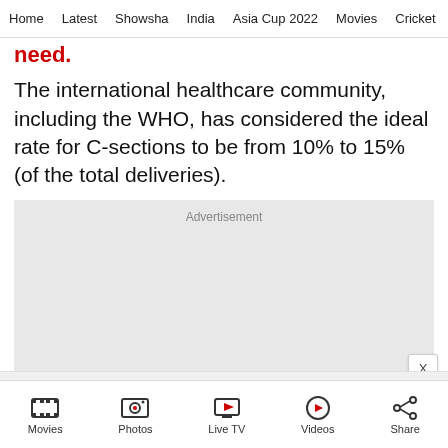Home  Latest  Showsha  India  Asia Cup 2022  Movies  Cricket
need.
The international healthcare community, including the WHO, has considered the ideal rate for C-sections to be from 10% to 15% (of the total deliveries).
[Figure (other): Advertisement placeholder block with 'X' close button]
Movies  Photos  Live TV  Videos  Share